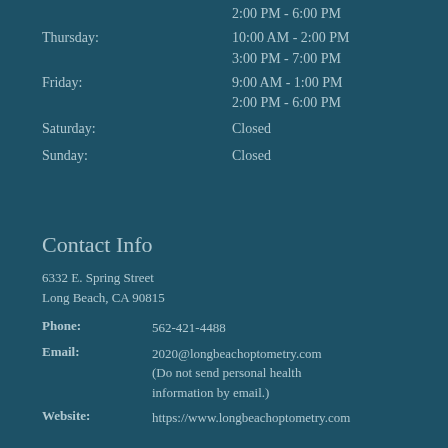2:00 PM - 6:00 PM
Thursday: 10:00 AM - 2:00 PM
3:00 PM - 7:00 PM
Friday: 9:00 AM - 1:00 PM
2:00 PM - 6:00 PM
Saturday: Closed
Sunday: Closed
Contact Info
6332 E. Spring Street
Long Beach, CA 90815
Phone: 562-421-4488
Email: 2020@longbeachoptometry.com
(Do not send personal health information by email.)
Website: https://www.longbeachoptometry.com